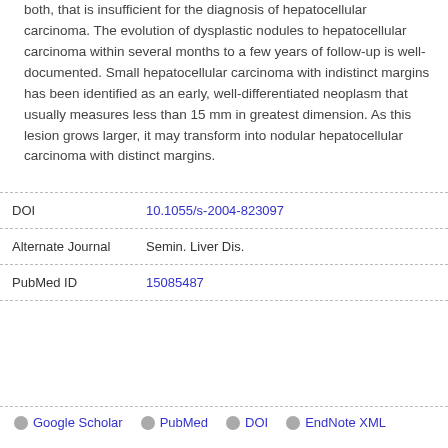both, that is insufficient for the diagnosis of hepatocellular carcinoma. The evolution of dysplastic nodules to hepatocellular carcinoma within several months to a few years of follow-up is well-documented. Small hepatocellular carcinoma with indistinct margins has been identified as an early, well-differentiated neoplasm that usually measures less than 15 mm in greatest dimension. As this lesion grows larger, it may transform into nodular hepatocellular carcinoma with distinct margins.
| Field | Value |
| --- | --- |
| DOI | 10.1055/s-2004-823097 |
| Alternate Journal | Semin. Liver Dis. |
| PubMed ID | 15085487 |
Google Scholar  PubMed  DOI  EndNote XML